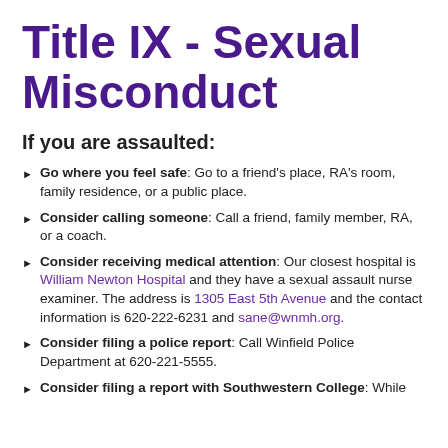Title IX - Sexual Misconduct
If you are assaulted:
Go where you feel safe: Go to a friend's place, RA's room, family residence, or a public place.
Consider calling someone: Call a friend, family member, RA, or a coach.
Consider receiving medical attention: Our closest hospital is William Newton Hospital and they have a sexual assault nurse examiner. The address is 1305 East 5th Avenue and the contact information is 620-222-6231 and sane@wnmh.org.
Consider filing a police report: Call Winfield Police Department at 620-221-5555.
Consider filing a report with Southwestern College: While...